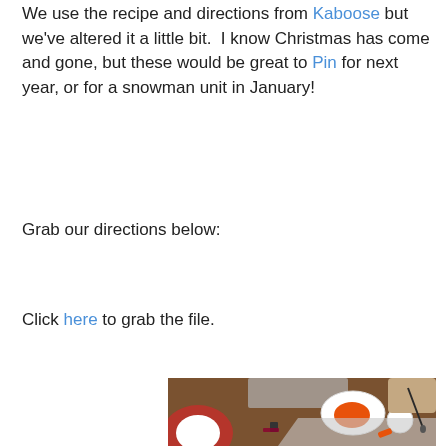We use the recipe and directions from Kaboose but we've altered it a little bit.  I know Christmas has come and gone, but these would be great to Pin for next year, or for a snowman unit in January!
Grab our directions below:
Click here to grab the file.
[Figure (photo): Overhead photo of a wooden table with craft supplies: a decorative plate, a white paper plate with orange paint, a small white circle (ornament), a binder clip, orange crayon pieces, a gray plastic bag/sheet, and a child's hand holding a paintbrush.]